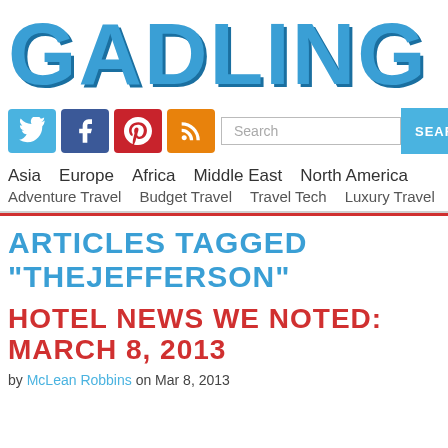GADLING
[Figure (infographic): Social media icon buttons (Twitter, Facebook, Pinterest, RSS) and a search bar with SEARCH button]
Asia  Europe  Africa  Middle East  North America  Adventure Travel  Budget Travel  Travel Tech  Luxury Travel
ARTICLES TAGGED "THEJEFFERSON"
HOTEL NEWS WE NOTED: MARCH 8, 2013
by McLean Robbins on Mar 8, 2013